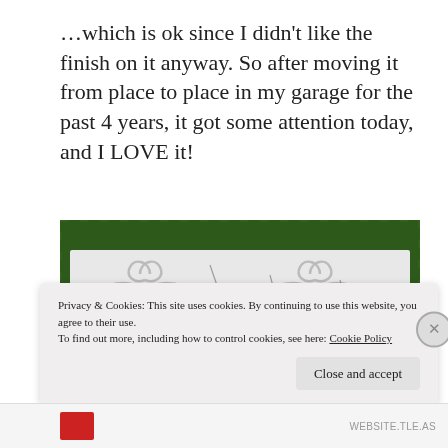…which is ok since I didn’t like the finish on it anyway.  So after moving it from place to place in my garage for the past 4 years, it got some attention today, and I LOVE it!
[Figure (photo): A white decorative panel with embossed swirling floral motifs laid on green grass]
Privacy & Cookies: This site uses cookies. By continuing to use this website, you agree to their use.
To find out more, including how to control cookies, see here: Cookie Policy
Close and accept